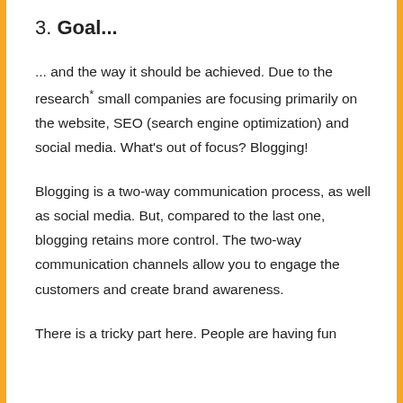3. Goal...
... and the way it should be achieved. Due to the research* small companies are focusing primarily on the website, SEO (search engine optimization) and social media. What's out of focus? Blogging!
Blogging is a two-way communication process, as well as social media. But, compared to the last one, blogging retains more control. The two-way communication channels allow you to engage the customers and create brand awareness.
There is a tricky part here. People are having fun